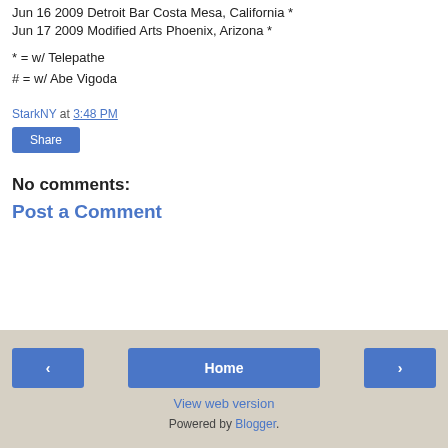Jun 16 2009 Detroit Bar Costa Mesa, California *
Jun 17 2009 Modified Arts Phoenix, Arizona *
* = w/ Telepathe
# = w/ Abe Vigoda
StarkNY at 3:48 PM
Share
No comments:
Post a Comment
‹  Home  ›  View web version  Powered by Blogger.